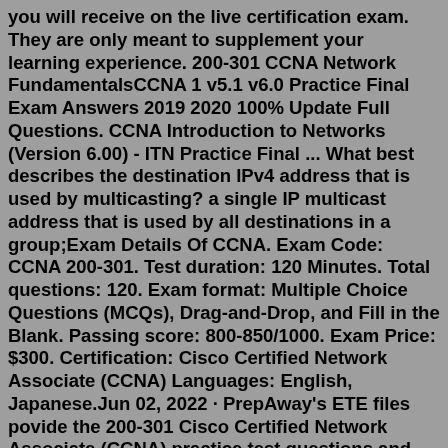you will receive on the live certification exam. They are only meant to supplement your learning experience. 200-301 CCNA Network FundamentalsCCNA 1 v5.1 v6.0 Practice Final Exam Answers 2019 2020 100% Update Full Questions. CCNA Introduction to Networks (Version 6.00) - ITN Practice Final ... What best describes the destination IPv4 address that is used by multicasting? a single IP multicast address that is used by all destinations in a group;Exam Details Of CCNA. Exam Code: CCNA 200-301. Test duration: 120 Minutes. Total questions: 120. Exam format: Multiple Choice Questions (MCQs), Drag-and-Drop, and Fill in the Blank. Passing score: 800-850/1000. Exam Price: $300. Certification: Cisco Certified Network Associate (CCNA) Languages: English, Japanese.Jun 02, 2022 · PrepAway's ETE files povide the 200-301 Cisco Certified Network Associate (CCNA) practice test questions and answers & exam dumps, study guide and training courses help you study and pass hassle-free! The Cisco 200-301 is associated with the Cisco